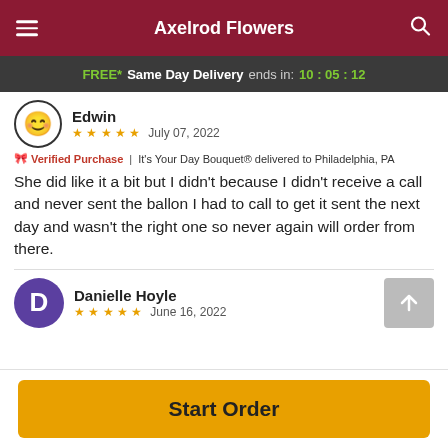Axelrod Flowers
FREE* Same Day Delivery ends in: 10:05:12
Edwin
★★★★★ July 07, 2022
🎀 Verified Purchase | It's Your Day Bouquet® delivered to Philadelphia, PA
She did like it a bit but I didn't because I didn't receive a call and never sent the ballon I had to call to get it sent the next day and wasn't the right one so never again will order from there.
Danielle Hoyle
★★★★★ June 16, 2022
Start Order